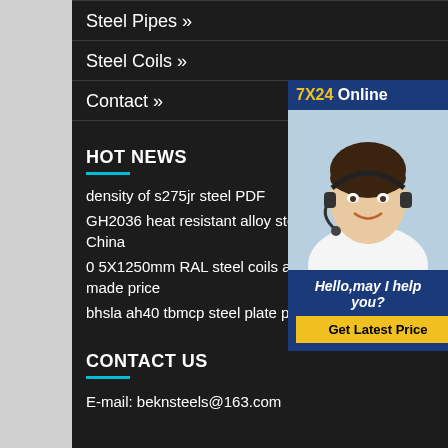Steel Pipes »
Steel Coils »
Contact »
HOT NEWS
density of s275jr steel PDF
GH2036 heat resistant alloy steel China
0 5X1250mm RAL steel coils and made price
bhsla ah40 tbmcp steel plate price
CONTACT US
E-mail: beknsteels@163.com
[Figure (photo): Customer service representative with headset smiling, with 7X24 Online chat widget overlay showing 'Hello,may I help you?' and 'Get Latest Price' button]